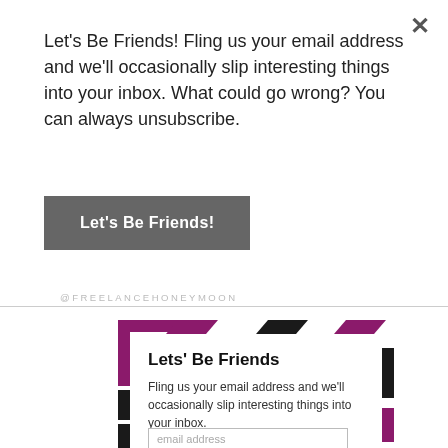Let's Be Friends! Fling us your email address and we'll occasionally slip interesting things into your inbox. What could go wrong? You can always unsubscribe.
Let's Be Friends!
@FREELANCEHONEYMOON
Lets' Be Friends
Fling us your email address and we'll occasionally slip interesting things into your inbox.
email address